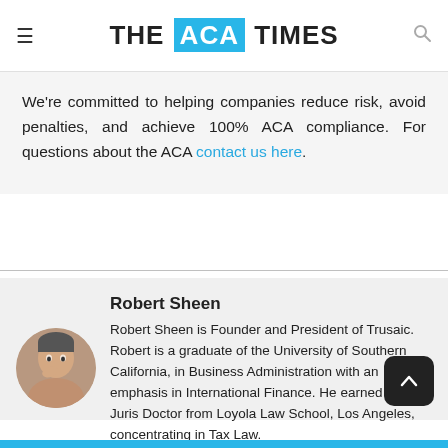THE ACA TIMES
We're committed to helping companies reduce risk, avoid penalties, and achieve 100% ACA compliance. For questions about the ACA contact us here.
Robert Sheen
Robert Sheen is Founder and President of Trusaic. Robert is a graduate of the University of Southern California, in Business Administration with an emphasis in International Finance. He earned his Juris Doctor from Loyola Law School, Los Angeles, concentrating in Tax Law.